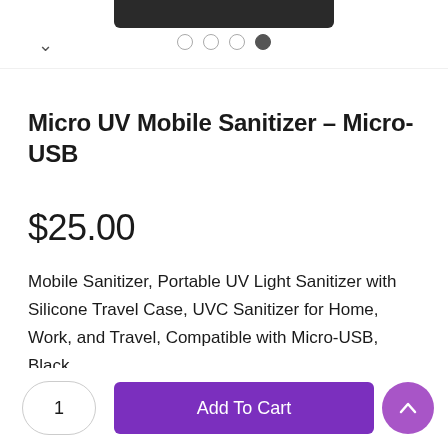[Figure (screenshot): Product image carousel showing partial view of Micro UV Mobile Sanitizer device (dark/black device visible at top), with navigation chevron on left and four pagination dots at bottom (three empty, one filled indicating 4th image active)]
Micro UV Mobile Sanitizer - Micro-USB
$25.00
Mobile Sanitizer, Portable UV Light Sanitizer with Silicone Travel Case, UVC Sanitizer for Home, Work, and Travel, Compatible with Micro-USB, Black
1  Add To Cart